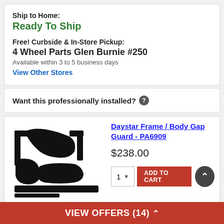Ship to Home:
Ready To Ship
Free! Curbside & In-Store Pickup:
4 Wheel Parts Glen Burnie #250
Available within 3 to 5 business days
View Other Stores
Want this professionally installed? ?
[Figure (photo): Daystar Frame/Body Gap Guard product image showing black rubber gap guard pieces]
Daystar Frame / Body Gap Guard - PA6909
$238.00
1  ADD TO CART
VIEW OFFERS (14)